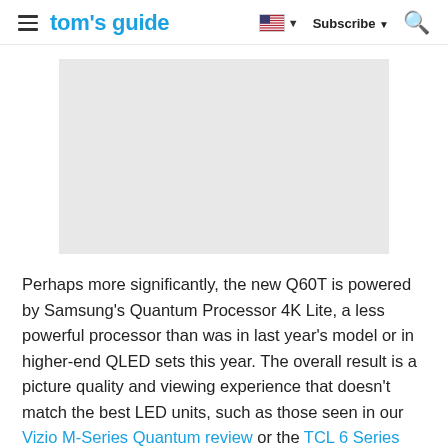tom's guide | Subscribe
[Figure (photo): Gray placeholder image box]
Perhaps more significantly, the new Q60T is powered by Samsung's Quantum Processor 4K Lite, a less powerful processor than was in last year's model or in higher-end QLED sets this year. The overall result is a picture quality and viewing experience that doesn't match the best LED units, such as those seen in our Vizio M-Series Quantum review or the TCL 6 Series